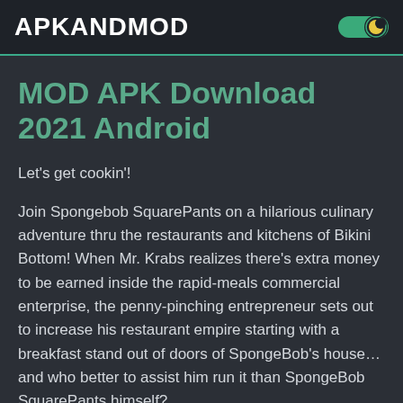APKANDMOD
MOD APK Download 2021 Android
Let's get cookin'!
Join Spongebob SquarePants on a hilarious culinary adventure thru the restaurants and kitchens of Bikini Bottom! When Mr. Krabs realizes there's extra money to be earned inside the rapid-meals commercial enterprise, the penny-pinching entrepreneur sets out to increase his restaurant empire starting with a breakfast stand out of doors of SpongeBob's house…and who better to assist him run it than SpongeBob SquarePants himself?
Create your very own Bikini Bottom kitchen, beautify and personalize your eating place, and get geared up to serve up scrumptious food on your guests! In this rapid-food cooking & time control sport